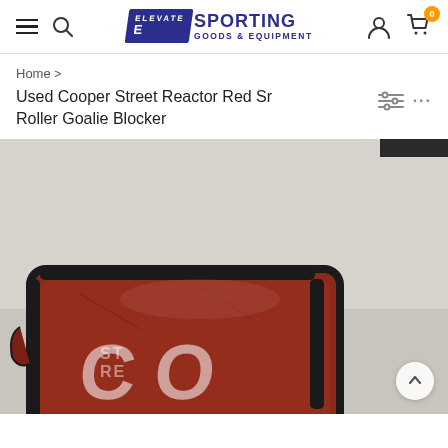Elevate Sporting Goods & Equipment — navigation header with hamburger menu, search icon, logo, user icon, cart (0)
Home >
Used Cooper Street Reactor Red Sr Roller Goalie Blocker
[Figure (photo): Photo of a used red Cooper Street Reactor roller hockey goalie blocker pad lying on a light surface. The blocker is worn and shows use. White text on the pad reads 'COOPER STREET REACTOR' (partially visible).]